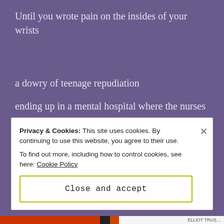Until you wrote pain on the insides of your wrists
a dowry of teenage repudiation
ending up in a mental hospital where the nurses
were all secret dykes and you fingered each other
Privacy & Cookies: This site uses cookies. By continuing to use this website, you agree to their use.
To find out more, including how to control cookies, see here: Cookie Policy

Close and accept